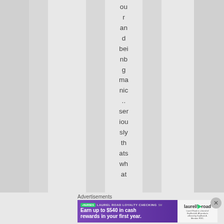our and being manic.. seriously thats what
Advertisements
[Figure (other): Laurel Road Loyalty Checking advertisement banner: Earn up to $540 in cash rewards in your first year.]